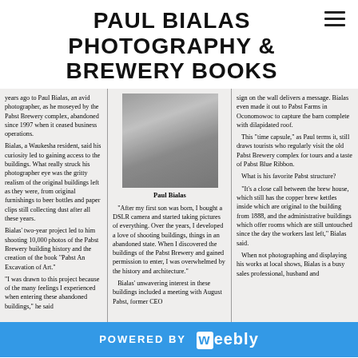PAUL BIALAS PHOTOGRAPHY & BREWERY BOOKS
[Figure (photo): Newspaper clipping showing a black and white photo of Paul Bialas (back view, wearing a sweater) with three columns of text about his photography of the Pabst Brewery complex. Caption reads 'Paul Bialas'.]
POWERED BY weebly